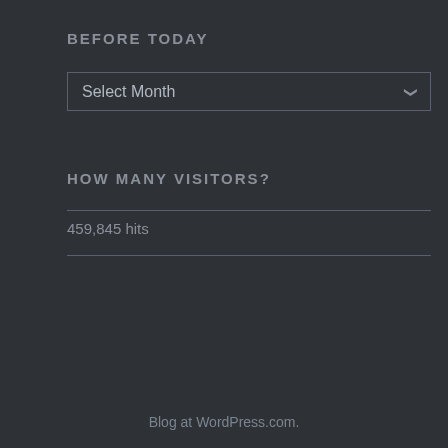BEFORE TODAY
[Figure (screenshot): A dropdown selector labeled 'Select Month' with a chevron arrow on right, dark themed]
HOW MANY VISITORS?
459,845 hits
Blog at WordPress.com.